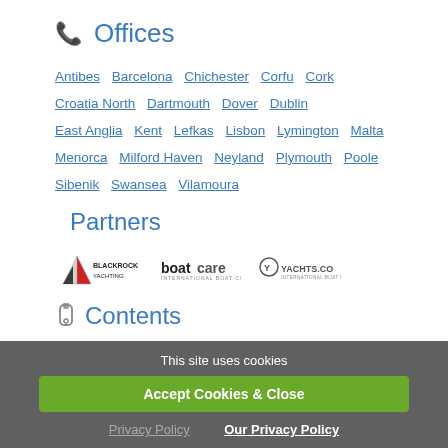Offices
Antibes  Barcelona  Chichester  Corfu  Cork  Croatia North  Dartmouth  Dover  Dublin  East Anglia  Kent  Lefkas  Lisbon  Lymington  Malta  Menorca  Milford Haven  Neyland  Plymouth  Poole  Sibenik  Swansea  Vilamoura
Partners
[Figure (logo): Blackrock Yachting logo, boatcare logo, yachts.co logo]
Contents
This site uses cookies
Accept Cookies & Close
Our Privacy Policy